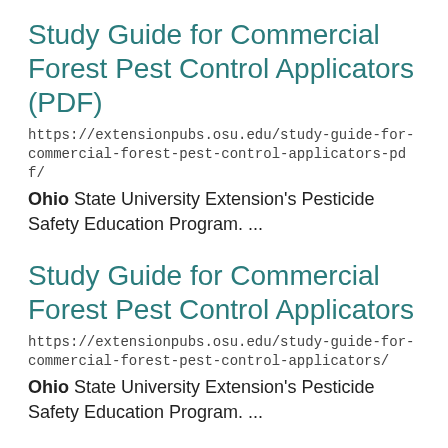Study Guide for Commercial Forest Pest Control Applicators (PDF)
https://extensionpubs.osu.edu/study-guide-for-commercial-forest-pest-control-applicators-pdf/
Ohio State University Extension's Pesticide Safety Education Program. ...
Study Guide for Commercial Forest Pest Control Applicators
https://extensionpubs.osu.edu/study-guide-for-commercial-forest-pest-control-applicators/
Ohio State University Extension's Pesticide Safety Education Program. ...